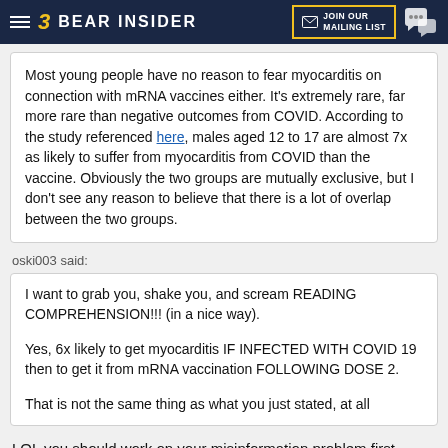3 BEAR INSIDER | JOIN OUR MAILING LIST
Most young people have no reason to fear myocarditis on connection with mRNA vaccines either. It's extremely rare, far more rare than negative outcomes from COVID. According to the study referenced here, males aged 12 to 17 are almost 7x as likely to suffer from myocarditis from COVID than the vaccine. Obviously the two groups are mutually exclusive, but I don't see any reason to believe that there is a lot of overlap between the two groups.
oski003 said:
I want to grab you, shake you, and scream READING COMPREHENSION!!! (in a nice way).
Yes, 6x likely to get myocarditis IF INFECTED WITH COVID 19 then to get it from mRNA vaccination FOLLOWING DOSE 2.
That is not the same thing as what you just stated, at all
LOL you should work on your misinformation problem first.
I think it's pretty obvious at this point that COVID will be endemic